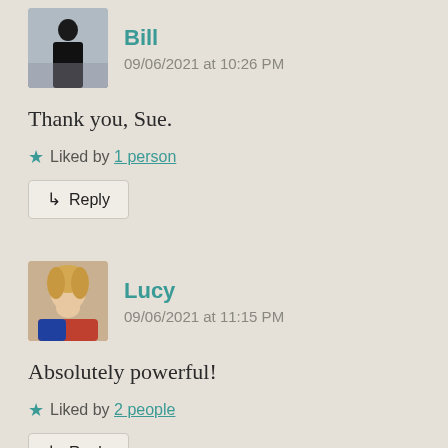[Figure (photo): Avatar photo of Bill - dark silhouette figure against a grey/cloudy background]
Bill
09/06/2021 at 10:26 PM
Thank you, Sue.
★ Liked by 1 person
↳ Reply
[Figure (photo): Avatar photo of Lucy - young woman with light hair, wearing red and blue clothing]
Lucy
09/06/2021 at 11:15 PM
Absolutely powerful!
★ Liked by 2 people
↳ Reply